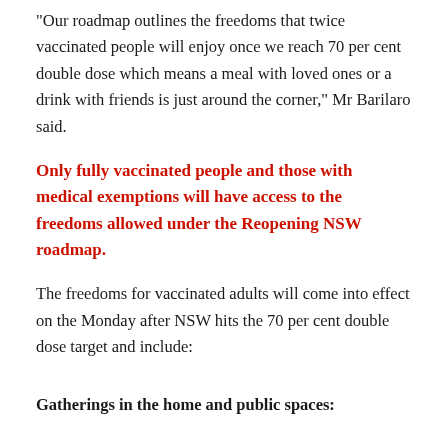“Our roadmap outlines the freedoms that twice vaccinated people will enjoy once we reach 70 per cent double dose which means a meal with loved ones or a drink with friends is just around the corner,” Mr Barilaro said.
Only fully vaccinated people and those with medical exemptions will have access to the freedoms allowed under the Reopening NSW roadmap.
The freedoms for vaccinated adults will come into effect on the Monday after NSW hits the 70 per cent double dose target and include:
Gatherings in the home and public spaces: